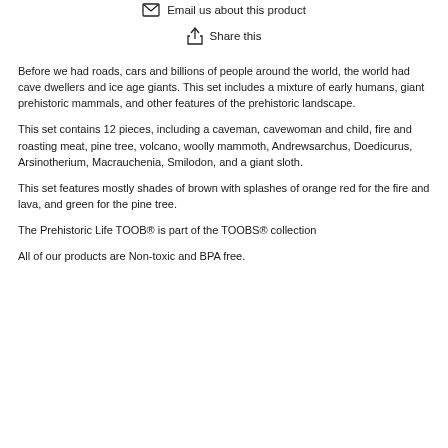Email us about this product
Share this
Before we had roads, cars and billions of people around the world, the world had cave dwellers and ice age giants. This set includes a mixture of early humans, giant prehistoric mammals, and other features of the prehistoric landscape.
This set contains 12 pieces, including a caveman, cavewoman and child, fire and roasting meat, pine tree, volcano, woolly mammoth, Andrewsarchus, Doedicurus, Arsinotherium, Macrauchenia, Smilodon, and a giant sloth.
This set features mostly shades of brown with splashes of orange red for the fire and lava, and green for the pine tree.
The Prehistoric Life TOOB® is part of the TOOBS® collection
All of our products are Non-toxic and BPA free.